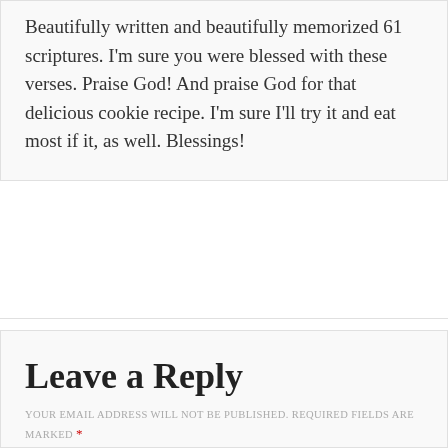Beautifully written and beautifully memorized 61 scriptures. I'm sure you were blessed with these verses. Praise God! And praise God for that delicious cookie recipe. I'm sure I'll try it and eat most if it, as well. Blessings!
Leave a Reply
YOUR EMAIL ADDRESS WILL NOT BE PUBLISHED. REQUIRED FIELDS ARE MARKED *
COMMENT *